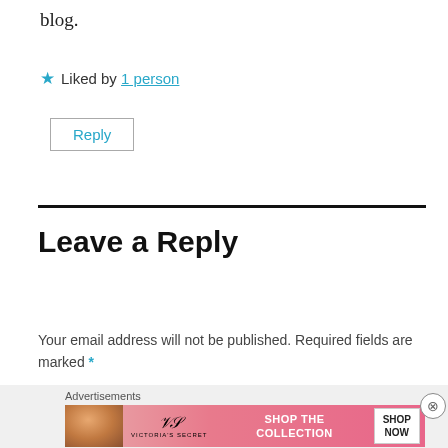blog.
Liked by 1 person
Reply
Leave a Reply
Your email address will not be published. Required fields are marked *
[Figure (screenshot): Victoria's Secret advertisement banner: pink gradient background, model photo on left, VS logo, 'SHOP THE COLLECTION' text, and 'SHOP NOW' button]